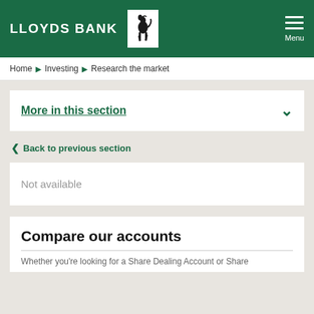LLOYDS BANK
Home ▶ Investing ▶ Research the market
More in this section
‹ Back to previous section
Not available
Compare our accounts
Whether you're looking for a Share Dealing Account or Share